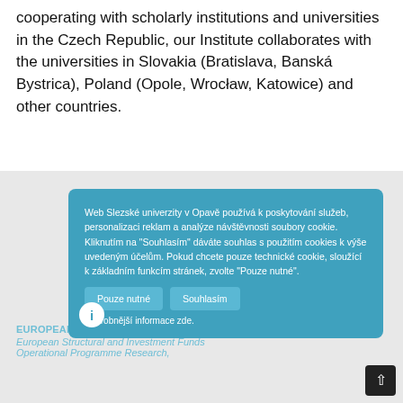cooperating with scholarly institutions and universities in the Czech Republic, our Institute collaborates with the universities in Slovakia (Bratislava, Banská Bystrica), Poland (Opole, Wrocław, Katowice) and other countries.
[Figure (screenshot): Cookie consent dialog popup with blue background containing Czech text about cookie usage, two buttons 'Pouze nutné' and 'Souhlasím', and a 'Podrobnější informace zde.' link. An info icon is visible to the left. Behind the dialog is a grey section with partially visible EU funding text.]